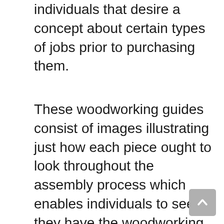individuals that desire a concept about certain types of jobs prior to purchasing them.
These woodworking guides consist of images illustrating just how each piece ought to look throughout the assembly process which enables individuals to see if they have the woodworking abilities needed for finishing a job successfully.
Woodworkers can also use woodworking Plans as recommendation factors as well as modify them to suit their requirements, or they might refer to online data sources of woodworking strategies that are used